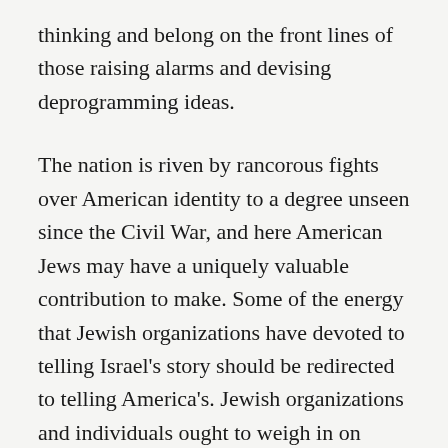thinking and belong on the front lines of those raising alarms and devising deprogramming ideas.
The nation is riven by rancorous fights over American identity to a degree unseen since the Civil War, and here American Jews may have a uniquely valuable contribution to make. Some of the energy that Jewish organizations have devoted to telling Israel's story should be redirected to telling America's. Jewish organizations and individuals ought to weigh in on curriculum debates such as that over the 1619 Project versus 1776 Unites, or on critical